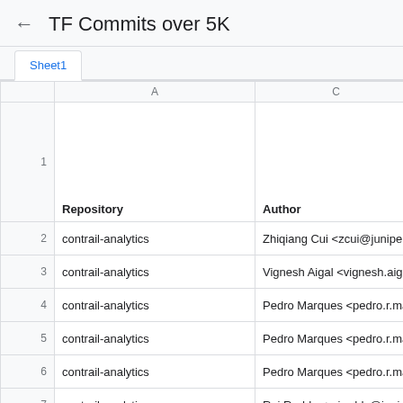← TF Commits over 5K
|  | A | C | Nu of ac |
| --- | --- | --- | --- |
| 1 | Repository | Author | Nu of ac |
| 2 | contrail-analytics | Zhiqiang Cui <zcui@juniper.net> |  |
| 3 | contrail-analytics | Vignesh Aigal <vignesh.aigal@gma |  |
| 4 | contrail-analytics | Pedro Marques <pedro.r.marques@ |  |
| 5 | contrail-analytics | Pedro Marques <pedro.r.marques@ |  |
| 6 | contrail-analytics | Pedro Marques <pedro.r.marques@ |  |
| 7 | contrail-analytics | Raj Reddy <rajreddy@juniper.net> |  |
| 8 | contrail-api-client | Pedro Marques <roque@juniper.ne |  |
| 9 | contrail-api-client | Pedro Marques <roque@juniper.ne |  |